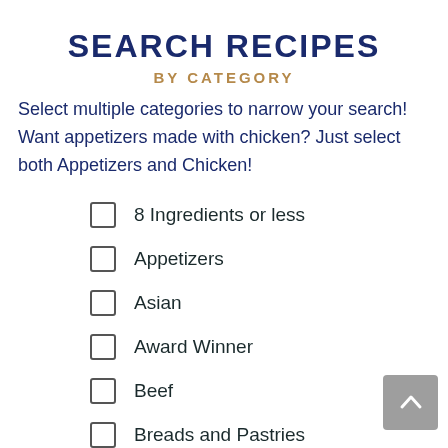SEARCH RECIPES
BY CATEGORY
Select multiple categories to narrow your search! Want appetizers made with chicken? Just select both Appetizers and Chicken!
8 Ingredients or less
Appetizers
Asian
Award Winner
Beef
Breads and Pastries
Brunch